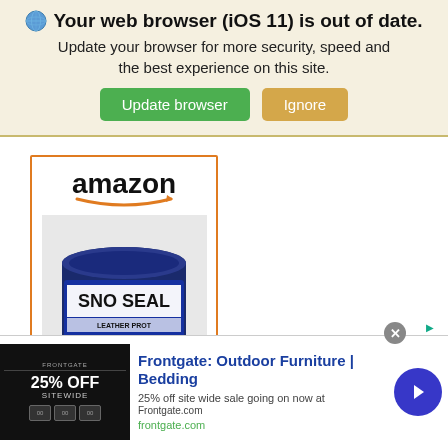Your web browser (iOS 11) is out of date. Update your browser for more security, speed and the best experience on this site.
[Figure (screenshot): Browser update notification banner with globe icon, bold title, subtitle, and two buttons: 'Update browser' (green) and 'Ignore' (tan/gold)]
[Figure (screenshot): Amazon advertisement box with orange border showing 'amazon' logo with arrow, and a product image of 'Sno Seal' leather protector tin, with blue link text 'Atsko 1330 8 Oz Sno-Seal All...']
[Figure (screenshot): Frontgate advertisement banner showing '25% OFF SITEWIDE' promotional image on dark background, with blue bold title 'Frontgate: Outdoor Furniture | Bedding', subtitle '25% off site wide sale going on now at Frontgate.com', green URL 'frontgate.com', blue circular arrow button, and close X button]